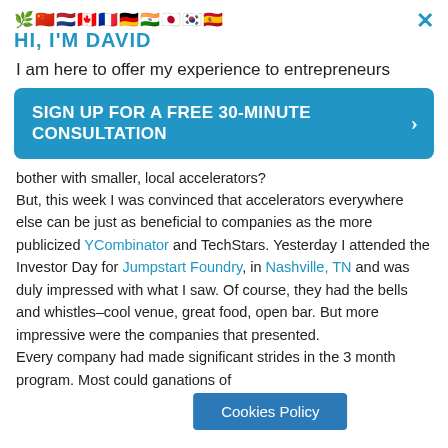[Figure (illustration): Row of country flag emojis (Saudi Arabia, China, Netherlands, Canada, France, Germany, India, Japan, South Korea, Spain)]
HI, I'M DAVID
I am here to offer my experience to entrepreneurs
SIGN UP FOR A FREE 30-MINUTE CONSULTATION
bother with smaller, local accelerators? But, this week I was convinced that accelerators everywhere else can be just as beneficial to companies as the more publicized YCombinator and TechStars. Yesterday I attended the Investor Day for Jumpstart Foundry, in Nashville, TN and was duly impressed with what I saw. Of course, they had the bells and whistles–cool venue, great food, open bar. But more impressive were the companies that presented. Every company had made significant strides in the 3 month program. Most could g[...] anations of
Cookies Policy